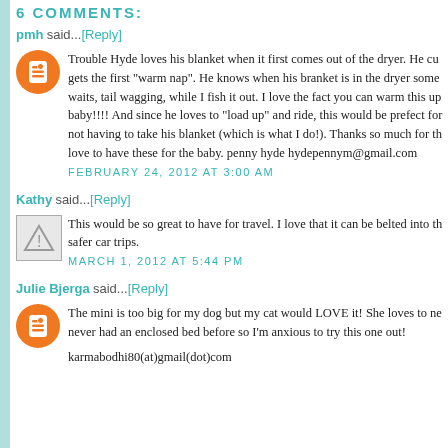6 COMMENTS:
pmh said...[Reply]
Trouble Hyde loves his blanket when it first comes out of the dryer. He cu gets the first "warm nap". He knows when his branket is in the dryer some waits, tail wagging, while I fish it out. I love the fact you can warm this up baby!!!! And since he loves to "load up" and ride, this would be prefect for not having to take his blanket (which is what I do!). Thanks so much for th love to have these for the baby. penny hyde hydepennym@gmail.com
FEBRUARY 24, 2012 AT 3:00 AM
Kathy said...[Reply]
This would be so great to have for travel. I love that it can be belted into th safer car trips.
MARCH 1, 2012 AT 5:44 PM
Julie Bjerga said...[Reply]
The mini is too big for my dog but my cat would LOVE it! She loves to ne never had an enclosed bed before so I'm anxious to try this one out!
karmabodhi80(at)gmail(dot)com